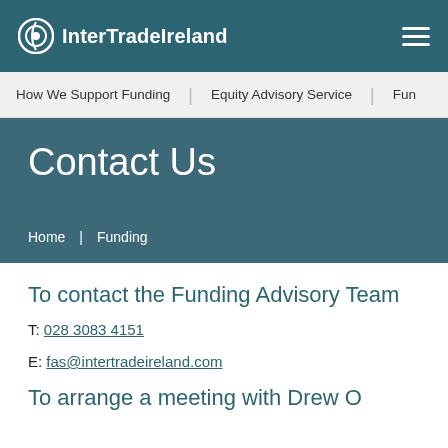InterTradeIreland
How We Support Funding | Equity Advisory Service | Fun
Contact Us
Home  Funding
To contact the Funding Advisory Team
T: 028 3083 4151
E: fas@intertradeireland.com
To arrange a meeting with Drew O